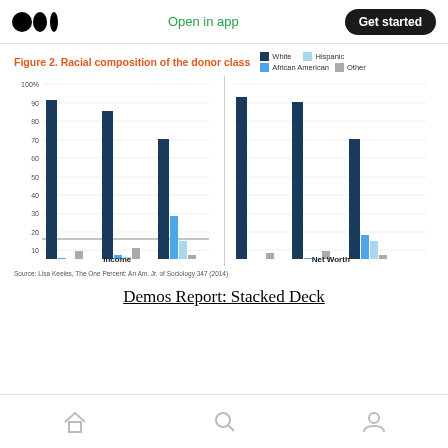Medium logo | Open in app | Get started
Figure 2. Racial composition of the donor class
[Figure (grouped-bar-chart): Figure 2. Racial composition of the donor class]
[Figure (grouped-bar-chart): Figure 2. Racial composition of the donor class]
Source: Lisa Keeles, The One Percent: An Am. Jr. of Sociology 347 (2014)
Demos Report: Stacked Deck
Home | Search | Profile